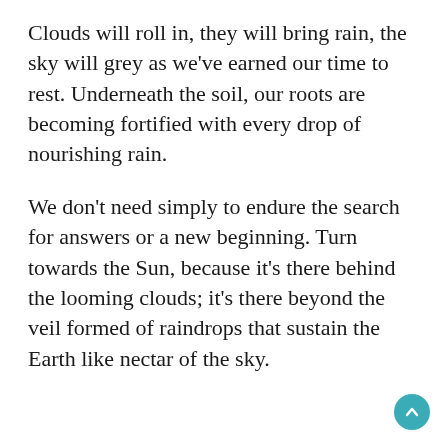Clouds will roll in, they will bring rain, the sky will grey as we've earned our time to rest. Underneath the soil, our roots are becoming fortified with every drop of nourishing rain.
We don't need simply to endure the search for answers or a new beginning. Turn towards the Sun, because it's there behind the looming clouds; it's there beyond the veil formed of raindrops that sustain the Earth like nectar of the sky.